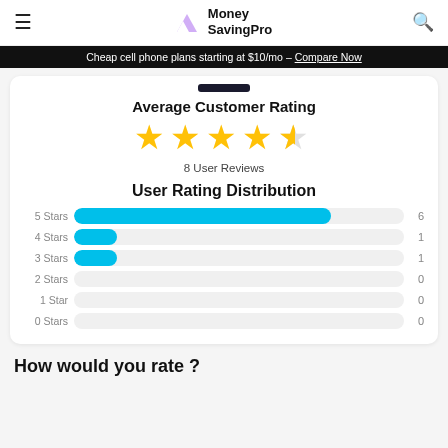Money SavingPro
Cheap cell phone plans starting at $10/mo - Compare Now
Average Customer Rating
[Figure (other): 4.5 out of 5 stars rating display with 4 full gold stars and 1 half gold star]
8 User Reviews
User Rating Distribution
[Figure (bar-chart): User Rating Distribution]
How would you rate ?